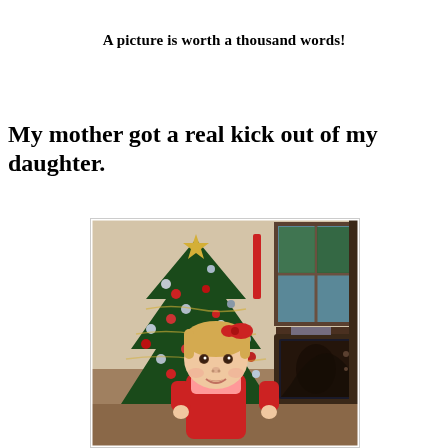A picture is worth a thousand words!
My mother got a real kick out of my daughter.
[Figure (photo): A vintage photograph of a young toddler girl with blonde hair and a red bow, wearing a red outfit, sitting in front of a decorated Christmas tree with red and silver ornaments. To the right is an old television set and a window. The photo appears to be from the 1980s.]